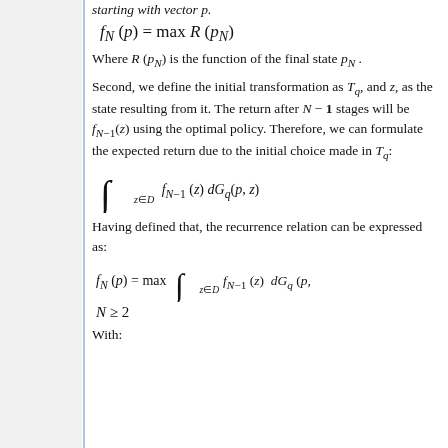starting with vector p.
Where R(p_N) is the function of the final state p_N.
Second, we define the initial transformation as T_q, and z, as the state resulting from it. The return after N-1 stages will be f_{N-1}(z) using the optimal policy. Therefore, we can formulate the expected return due to the initial choice made in T_q:
Having defined that, the recurrence relation can be expressed as:
With: